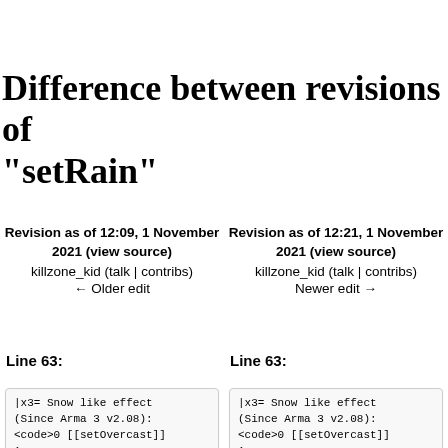Difference between revisions of "setRain"
Revision as of 12:09, 1 November 2021 (view source)
killzone_kid (talk | contribs)
← Older edit
Revision as of 12:21, 1 November 2021 (view source)
killzone_kid (talk | contribs)
Newer edit →
Line 63:
Line 63:
|x3= Snow like effect (Since Arma 3 v2.08):
<code>0 [[setOvercast]] 1;
|x3= Snow like effect (Since Arma 3 v2.08):
<code>0 [[setOvercast]] 1;
0 [[setRain]] 1;
0 [[setRain]] 1;